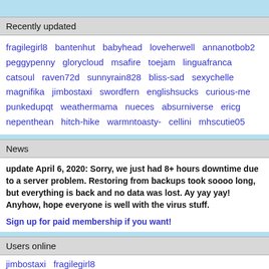Recently updated
fragilegirl8  bantenhut  babyhead  loveherwell  annanotbob2  peggypenny  glorycloud  msafire  toejam  linguafranca  catsoul  raven72d  sunnyrain828  bliss-sad  sexychelle  magnifika  jimbostaxi  swordfern  englishsucks  curious-me  punkedupqt  weathermama  nueces  absurniverse  ericg  nepenthean  hitch-hike  warmntoasty-  cellini  mhscutie05
News
update April 6, 2020: Sorry, we just had 8+ hours downtime due to a server problem. Restoring from backups took soooo long, but everything is back and no data was lost. Ay yay yay! Anyhow, hope everyone is well with the virus stuff.
Sign up for paid membership if you want!
Users online
jimbostaxi  fragilegirl8